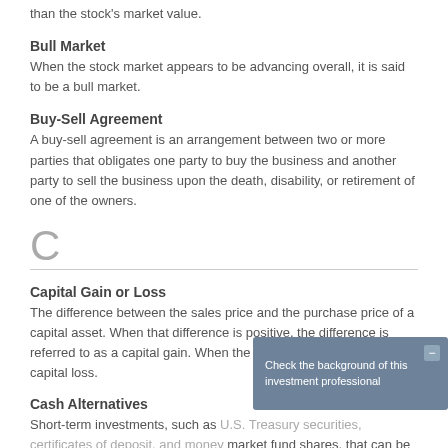than the stock's market value.
Bull Market
When the stock market appears to be advancing overall, it is said to be a bull market.
Buy-Sell Agreement
A buy-sell agreement is an arrangement between two or more parties that obligates one party to buy the business and another party to sell the business upon the death, disability, or retirement of one of the owners.
C
Capital Gain or Loss
The difference between the sales price and the purchase price of a capital asset. When that difference is positive, the difference is referred to as a capital gain. When the difference is negative, it is a capital loss.
Cash Alternatives
Short-term investments, such as U.S. Treasury securities, certificates of deposit, and money market fund shares, that can be readily converted